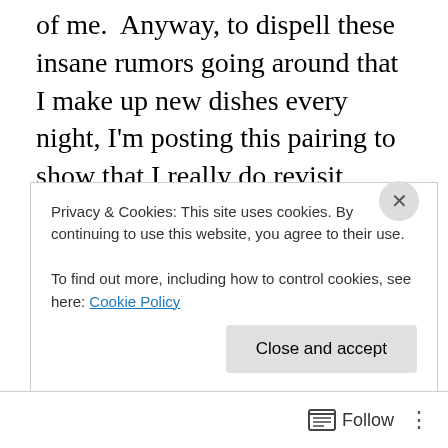of me.  Anyway, to dispell these insane rumors going around that I make up new dishes every night, I'm posting this pairing to show that I really do revisit dishes I've already made and try them with different wines.  Of course, it's rare that I make something the exact same way twice.  That'd just be so boring. This time I herbed up the pasta.  Details below!
Spinach and walnut pesto (no I didn't hand grind it this time, that's crazy) with browned ground hot italian sausage over sage and marjoram herbed homemade pasta.
Privacy & Cookies: This site uses cookies. By continuing to use this website, you agree to their use.
To find out more, including how to control cookies, see here: Cookie Policy
Follow ...